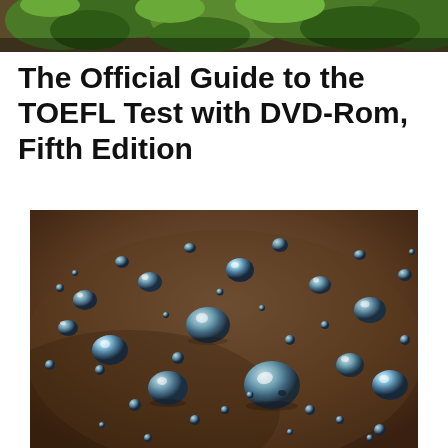[Figure (photo): Partial photo of green leaves/plant cropped at top of page]
The Official Guide to the TOEFL Test with DVD-Rom, Fifth Edition
[Figure (photo): Close-up macro photograph of water droplets on a brown/dark surface]